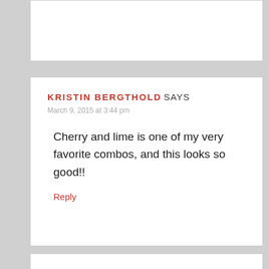KRISTIN BERGTHOLD SAYS
March 9, 2015 at 3:44 pm
Cherry and lime is one of my very favorite combos, and this looks so good!!
Reply